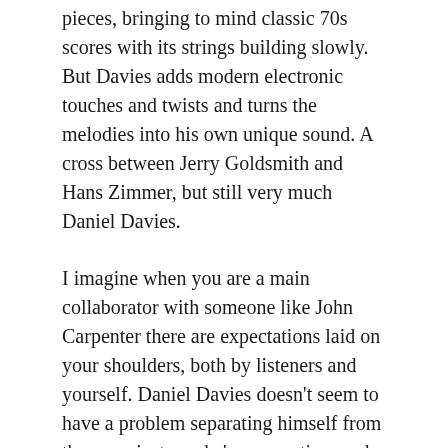pieces, bringing to mind classic 70s scores with its strings building slowly. But Davies adds modern electronic touches and twists and turns the melodies into his own unique sound. A cross between Jerry Goldsmith and Hans Zimmer, but still very much Daniel Davies.
I imagine when you are a main collaborator with someone like John Carpenter there are expectations laid on your shoulders, both by listeners and yourself. Daniel Davies doesn’t seem to have a problem separating himself from those projects, as he’s proven time and time again with his solo albums. Spies continues to seem Davies building his own music history and his own sonic style. It’s an impressive feat, and an even more impressive listen.